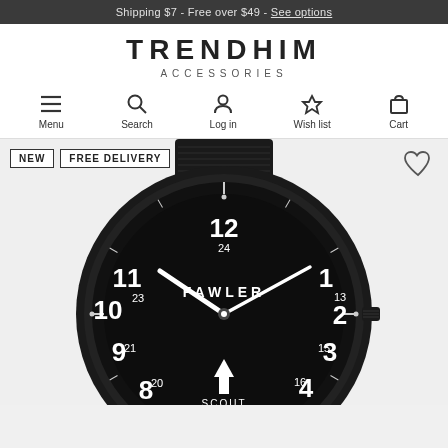Shipping $7 - Free over $49 - See options
TRENDHIM ACCESSORIES
Menu
Search
Log in
Wish list
Cart
[Figure (photo): A Fawler Scout black military-style watch with black NATO nylon strap and black dial showing 24-hour numerals, displayed on a light gray background. Labels: NEW, FREE DELIVERY.]